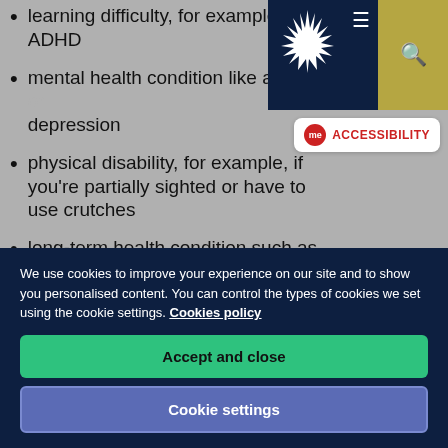learning difficulty, for example, ADHD
mental health condition like anxiety or depression
physical disability, for example, if you're partially sighted or have to use crutches
long-term health condition such as cancer, chronic heart disease or HIV
We use cookies to improve your experience on our site and to show you personalised content. You can control the types of cookies we set using the cookie settings. Cookies policy
Accept and close
Cookie settings